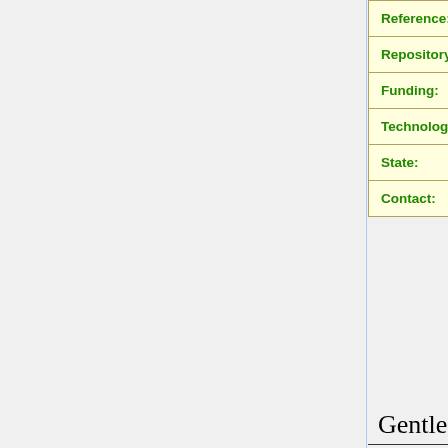| Field | Value |
| --- | --- |
| Reference: | No aplica |
| Repository: | Sheep |
| Funding: | Universidad de Zaragoza, Asociación Nacional de Criadores de Ganado Ovino de la Raza Rasa Aragonesa (ANGRA), Casa de Ganaderos de Zaragoza S.C.L. |
| Technologies: | Vision, Morphological analysis, deep learning |
| State: | Ongoing |
| Contact: | manuel.castejon@unileon... |
GentleBots Team